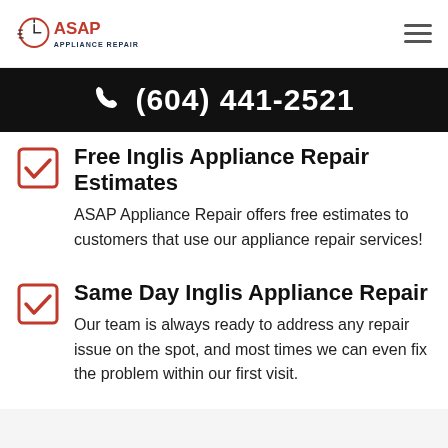ASAP Appliance Repair
(604) 441-2521
Free Inglis Appliance Repair Estimates
ASAP Appliance Repair offers free estimates to customers that use our appliance repair services!
Same Day Inglis Appliance Repair
Our team is always ready to address any repair issue on the spot, and most times we can even fix the problem within our first visit.